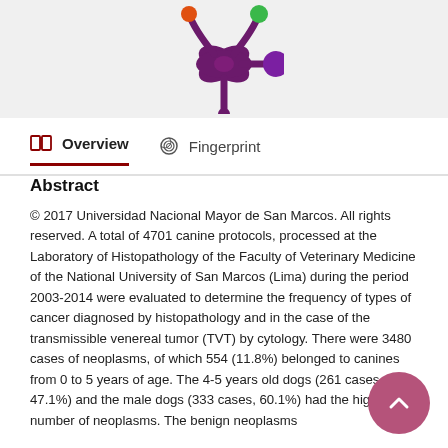[Figure (logo): Decorative logo/icon with colorful abstract snowflake-like shape with colored dots (orange, green, purple) on a light grey background]
Overview   Fingerprint
Abstract
© 2017 Universidad Nacional Mayor de San Marcos. All rights reserved. A total of 4701 canine protocols, processed at the Laboratory of Histopathology of the Faculty of Veterinary Medicine of the National University of San Marcos (Lima) during the period 2003-2014 were evaluated to determine the frequency of types of cancer diagnosed by histopathology and in the case of the transmissible venereal tumor (TVT) by cytology. There were 3480 cases of neoplasms, of which 554 (11.8%) belonged to canines from 0 to 5 years of age. The 4-5 years old dogs (261 cases, 47.1%) and the male dogs (333 cases, 60.1%) had the highest number of neoplasms. The benign neoplasms